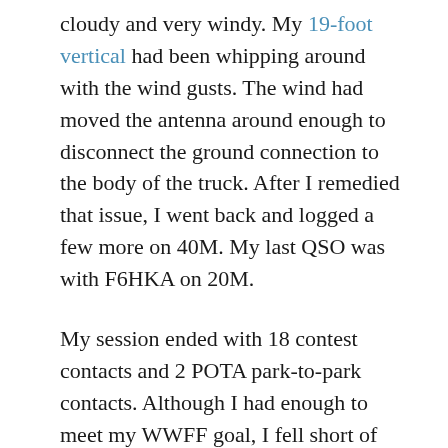cloudy and very windy. My 19-foot vertical had been whipping around with the wind gusts. The wind had moved the antenna around enough to disconnect the ground connection to the body of the truck. After I remedied that issue, I went back and logged a few more on 40M. My last QSO was with F6HKA on 20M.
My session ended with 18 contest contacts and 2 POTA park-to-park contacts. Although I had enough to meet my WWFF goal, I fell short of my SKCC goal. I still needed one more qualifying contact for the Senator x2 level. I picked up that last elusive contact after I got home.